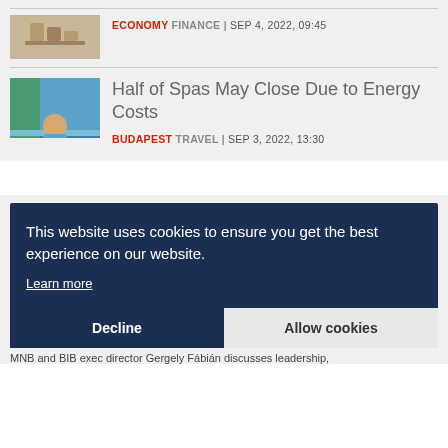[Figure (photo): Small thumbnail of stacked coins]
ECONOMY FINANCE | SEP 4, 2022, 09:45
[Figure (photo): Person relaxing in a spa pool with blue water]
Half of Spas May Close Due to Energy Costs
BUDAPEST TRAVEL | SEP 3, 2022, 13:30
This website uses cookies to ensure you get the best experience on our website.
Learn more
Decline
Allow cookies
MNB and BIB exec director Gergely Fábián discusses leadership,